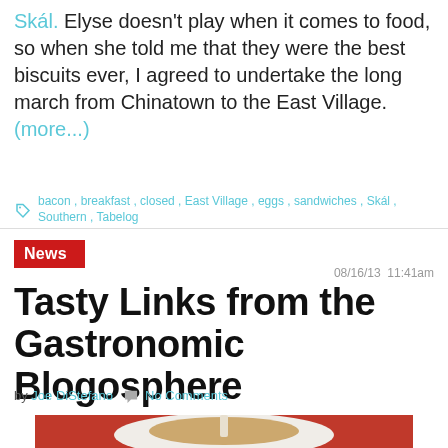Skál. Elyse doesn't play when it comes to food, so when she told me that they were the best biscuits ever, I agreed to undertake the long march from Chinatown to the East Village. (more...)
bacon, breakfast, closed, East Village, eggs, sandwiches, Skál, Southern, Tabelog
News
08/16/13 11:41am
Tasty Links from the Gastronomic Blogosphere
by Joe DiStefano  No Comments
[Figure (photo): Photo of a dish with noodles or fried food on a white plate against a red background]